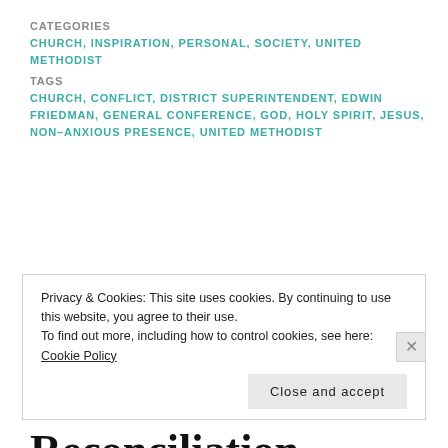CATEGORIES CHURCH, INSPIRATION, PERSONAL, SOCIETY, UNITED METHODIST
TAGS CHURCH, CONFLICT, DISTRICT SUPERINTENDENT, EDWIN FRIEDMAN, GENERAL CONFERENCE, GOD, HOLY SPIRIT, JESUS, NON-ANXIOUS PRESENCE, UNITED METHODIST
Steve Jobs, Daddy, and Abraham Lincoln on Reconciliation
Privacy & Cookies: This site uses cookies. By continuing to use this website, you agree to their use.
To find out more, including how to control cookies, see here: Cookie Policy